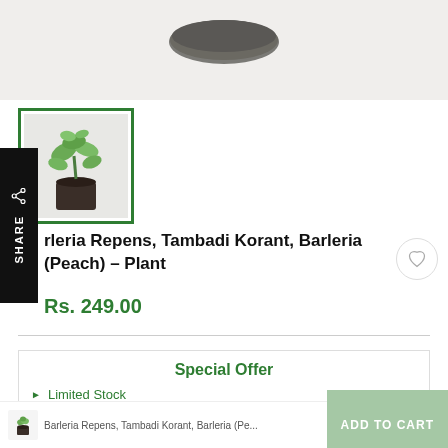[Figure (photo): Cropped product image showing top of a dark grey bowl/pot against light grey background]
[Figure (photo): Thumbnail image of Barleria Repens plant in black pot with green border highlight]
Barleria Repens, Tambadi Korant, Barleria (Peach) – Plant
Rs. 249.00
Special Offer
Limited Stock
Free Delivery Available†
Barleria Repens, Tambadi Korant, Barleria (Pe...  ADD TO CART